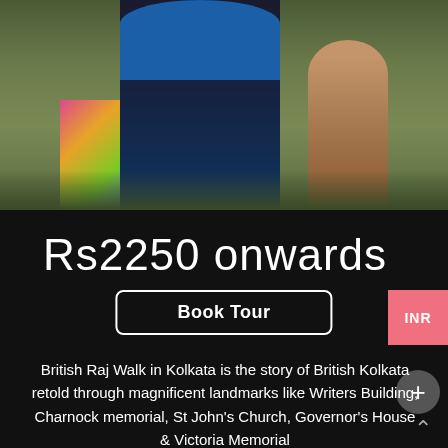[Figure (photo): Outdoor scene with people standing on grass, person in blue shirt and colorful skirt, child in background]
Rs2250 onwards
Book Tour
British Raj Walk in Kolkata is the story of British Kolkata retold through magnificent landmarks like Writers Building, Charnock memorial, St John's Church, Governor's House & Victoria Memorial